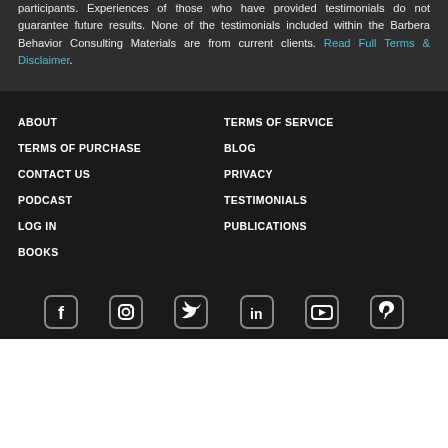participants. Experiences of those who have provided testimonials do not guarantee future results. None of the testimonials included within the Barbera Behavior Consulting Materials are from current clients. Read Full Terms & Disclaimer.
ABOUT
TERMS OF SERVICE
TERMS OF PURCHASE
BLOG
CONTACT US
PRIVACY
PODCAST
TESTIMONIALS
LOG IN
PUBLICATIONS
BOOKS
[Figure (infographic): Social media icons row: Facebook, Instagram, Twitter, LinkedIn, YouTube, Pinterest — each in a rounded square outline on dark background]